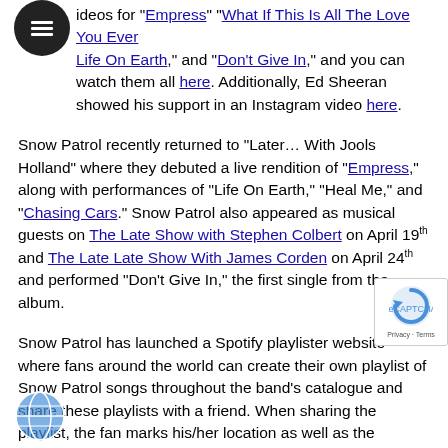videos for “Empress” “What If This Is All The Love You Ever Life On Earth,” and “Don’t Give In,” and you can watch them all here. Additionally, Ed Sheeran showed his support in an Instagram video here.
Snow Patrol recently returned to “Later… With Jools Holland” where they debuted a live rendition of “Empress,” along with performances of “Life On Earth,” “Heal Me,” and “Chasing Cars.” Snow Patrol also appeared as musical guests on The Late Show with Stephen Colbert on April 19th and The Late Late Show With James Corden on April 24th and performed “Don't Give In,” the first single from the album.
Snow Patrol has launched a Spotify playlister website where fans around the world can create their own playlist of Snow Patrol songs throughout the band’s catalogue and share these playlists with a friend. When sharing the playlist, the fan marks his/her location as well as the recipient's location on a global map. it out and create your own playlist at http://playlist.snowpat... Since their 1998 debut, Songs for Polarbears, Snow Patrol has